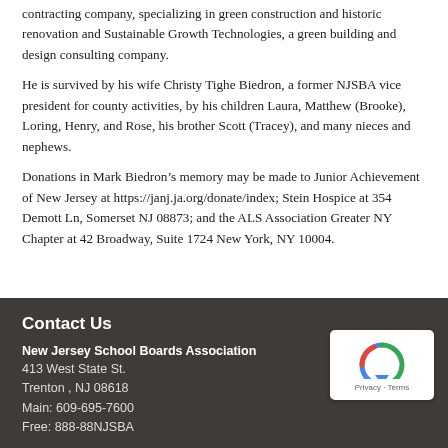contracting company, specializing in green construction and historic renovation and Sustainable Growth Technologies, a green building and design consulting company.
He is survived by his wife Christy Tighe Biedron, a former NJSBA vice president for county activities, by his children Laura, Matthew (Brooke), Loring, Henry, and Rose, his brother Scott (Tracey), and many nieces and nephews.
Donations in Mark Biedron’s memory may be made to Junior Achievement of New Jersey at https://janj.ja.org/donate/index; Stein Hospice at 354 Demott Ln, Somerset NJ 08873; and the ALS Association Greater NY Chapter at 42 Broadway, Suite 1724 New York, NY 10004.
Contact Us
New Jersey School Boards Association
413 West State St.
Trenton , NJ 08618
Main: 609-695-7600
Free: 888-88NJSBA